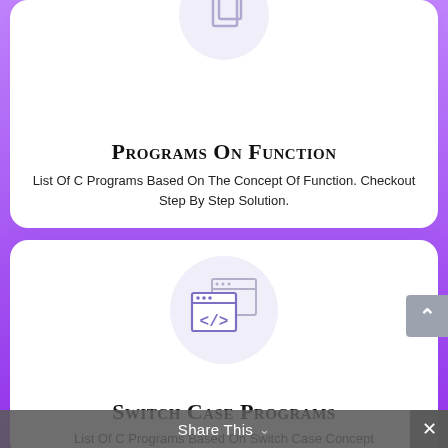[Figure (illustration): Code/function icon in a light purple circle at top of first card (partially cropped at top)]
Programs On Function
List Of C Programs Based On The Concept Of Function. Checkout Step By Step Solution.
[Figure (illustration): Code editor/HTML tag icon (</>) with two overlapping browser window frames in a light purple circle]
Switch Case Programs
List Of C Programs Based On Switch Case Concept